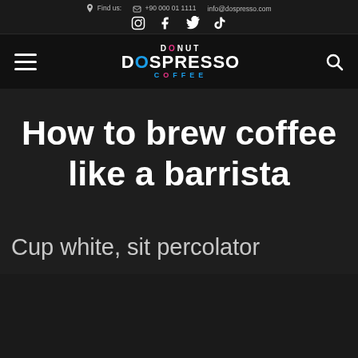Find us: +90 000 01 1111  info@dospresso.com  Instagram  Facebook  Twitter  TikTok
[Figure (logo): Donut Dospresso Coffee logo with hamburger menu and search icon on black navigation bar]
How to brew coffee like a barrista
Cup white, sit percolator